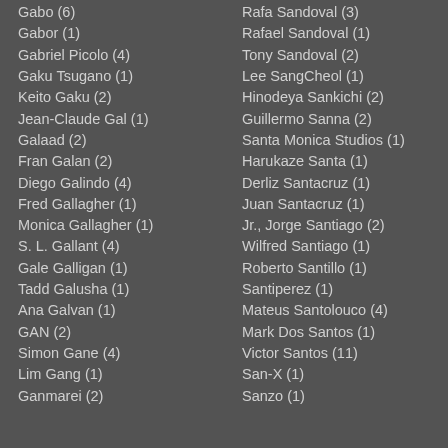Gabo (6)
Gabor (1)
Gabriel Picolo (4)
Gaku Tsugano (1)
Keito Gaku (2)
Jean-Claude Gal (1)
Galaad (2)
Fran Galan (2)
Diego Galindo (4)
Fred Gallagher (1)
Monica Gallagher (1)
S. L. Gallant (4)
Gale Galligan (1)
Tadd Galusha (1)
Ana Galvan (1)
GAN (2)
Simon Gane (4)
Lim Gang (1)
Ganmarei (2)
Rafa Sandoval (3)
Rafael Sandoval (1)
Tony Sandoval (2)
Lee SangCheol (1)
Hinodeya Sankichi (2)
Guillermo Sanna (2)
Santa Monica Studios (1)
Harukaze Santa (1)
Derliz Santacruz (1)
Juan Santacruz (1)
Jr., Jorge Santiago (2)
Wilfred Santiago (1)
Roberto Santillo (1)
Santiperez (1)
Mateus Santolouco (4)
Mark Dos Santos (1)
Victor Santos (11)
San-X (1)
Sanzo (1)